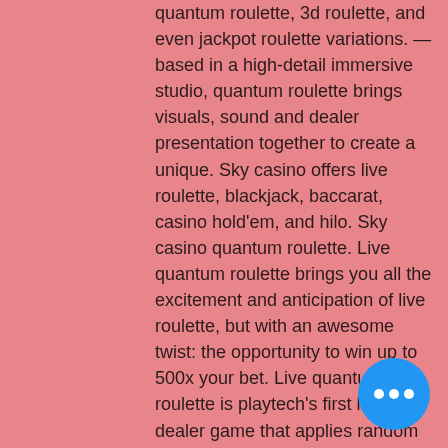quantum roulette, 3d roulette, and even jackpot roulette variations. — based in a high-detail immersive studio, quantum roulette brings visuals, sound and dealer presentation together to create a unique. Sky casino offers live roulette, blackjack, baccarat, casino hold'em, and hilo. Sky casino quantum roulette. Live quantum roulette brings you all the excitement and anticipation of live roulette, but with an awesome twist: the opportunity to win up to 500x your bet. Live quantum roulette is playtech's first live dealer game that applies random multipliers of up to 500x to winning straight-up roulette numbers. Quantum™ roulette instant play introduces a win multiplier feature on straight bets only. Before the ball lands, quantum™ roulette instant play will randomly
Lucky Draw Casino Deposit Bonus Co… free bitcoin slot games ipad. Minimum deposit to get this bonus is $10. May 12,